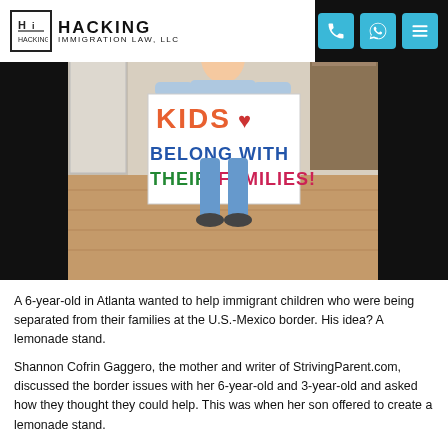HACKING IMMIGRATION LAW, LLC
[Figure (photo): A young child holding a hand-painted sign reading 'KIDS BELONG WITH THEIR FAMILIES!' in colorful letters, standing in a home interior.]
A 6-year-old in Atlanta wanted to help immigrant children who were being separated from their families at the U.S.-Mexico border. His idea? A lemonade stand.
Shannon Cofrin Gaggero, the mother and writer of StrivingParent.com, discussed the border issues with her 6-year-old and 3-year-old and asked how they thought they could help. This was when her son offered to create a lemonade stand.
Gaggero made several posts on Facebook asking her local